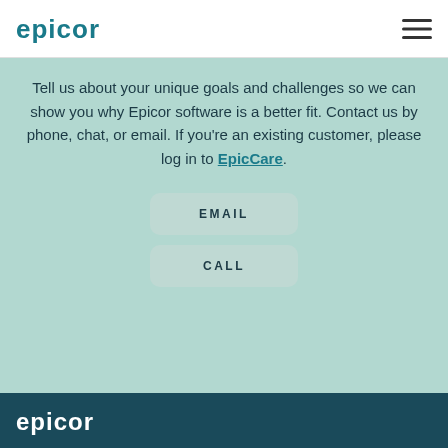Epicor [logo] [hamburger menu]
Tell us about your unique goals and challenges so we can show you why Epicor software is a better fit. Contact us by phone, chat, or email. If you’re an existing customer, please log in to EpicCare.
EMAIL
CALL
Epicor [logo]